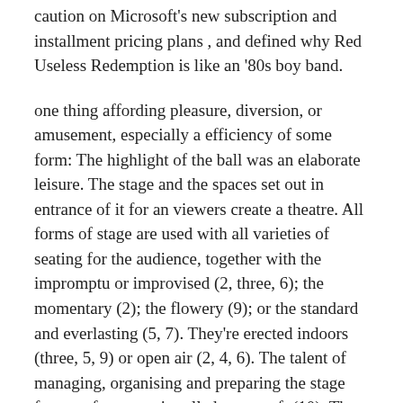caution on Microsoft's new subscription and installment pricing plans , and defined why Red Useless Redemption is like an '80s boy band.
one thing affording pleasure, diversion, or amusement, especially a efficiency of some form: The highlight of the ball was an elaborate leisure. The stage and the spaces set out in entrance of it for an viewers create a theatre. All forms of stage are used with all varieties of seating for the audience, together with the impromptu or improvised (2, three, 6); the momentary (2); the flowery (9); or the standard and everlasting (5, 7). They're erected indoors (three, 5, 9) or open air (2, 4, 6). The talent of managing, organising and preparing the stage for a performance is called stagecraft (10). The viewers's experience of the leisure is affected by their expectations, the stagecraft, the type of stage, and the kind and standard of seating supplied.